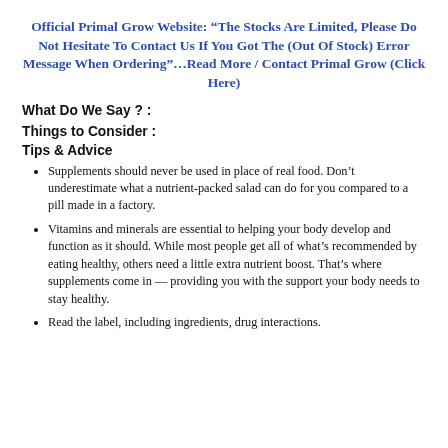Official Primal Grow Website: “The Stocks Are Limited, Please Do Not Hesitate To Contact Us If You Got The (Out Of Stock) Error Message When Ordering”…Read More / Contact Primal Grow (Click Here)
What Do We Say ? :
Things to Consider :
Tips & Advice
Supplements should never be used in place of real food. Don’t underestimate what a nutrient-packed salad can do for you compared to a pill made in a factory.
Vitamins and minerals are essential to helping your body develop and function as it should. While most people get all of what’s recommended by eating healthy, others need a little extra nutrient boost. That’s where supplements come in — providing you with the support your body needs to stay healthy.
Read the label, including ingredients, drug interactions.